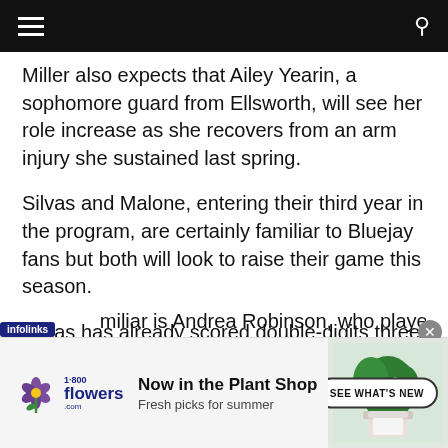Navigation header bar
...Miller also expects that Ailey Yearin, a sophomore guard from Ellsworth, will see her role increase as she recovers from an arm injury she sustained last spring.
Silvas and Malone, entering their third year in the program, are certainly familiar to Bluejay fans but both will look to raise their game this season.
Silvas has already scored double-digits three times this season.
...familiar is Andrea Robinson, who played with
[Figure (other): 1-800-Flowers advertisement banner: 'Now in the Plant Shop — Fresh picks for summer' with plant image and 'SEE WHAT'S NEW' CTA button. Infolinks badge in top-left. Close button (X) in top-right.]